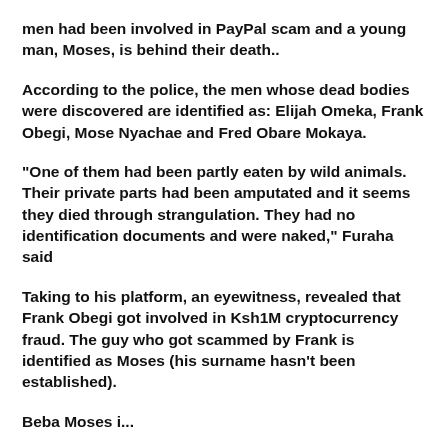men had been involved in PayPal scam and a young man, Moses, is behind their death..
According to the police, the men whose dead bodies were discovered are identified as: Elijah Omeka, Frank Obegi, Mose Nyachae and Fred Obare Mokaya.
"One of them had been partly eaten by wild animals. Their private parts had been amputated and it seems they died through strangulation. They had no identification documents and were naked," Furaha said
Taking to his platform, an eyewitness, revealed that Frank Obegi got involved in Ksh1M cryptocurrency fraud. The guy who got scammed by Frank is identified as Moses (his surname hasn't been established).
Beba Moses i...